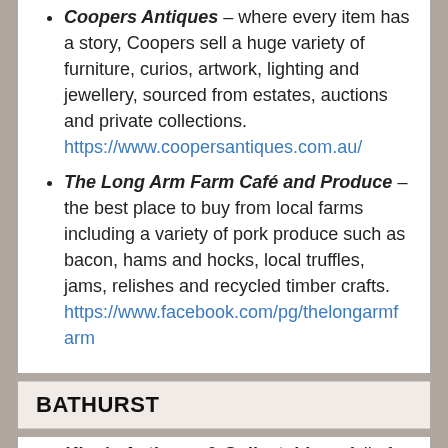Coopers Antiques – where every item has a story, Coopers sell a huge variety of furniture, curios, artwork, lighting and jewellery, sourced from estates, auctions and private collections. https://www.coopersantiques.com.au/
The Long Arm Farm Café and Produce – the best place to buy from local farms including a variety of pork produce such as bacon, hams and hocks, local truffles, jams, relishes and recycled timber crafts. https://www.facebook.com/pg/thelongarmfarm
BATHURST
King's Antiques & Collectables – full of English antiques, collectables, old wares, decorative items, vintage tea-wares and Goddard's Polish. Indulge your secret love of Antiques Roadshow and explore with owners Martin and Judy King. https://www.facebook.com/kingsantiquesbathurst/
Arts Gallery - The Tablelands Artists Co-